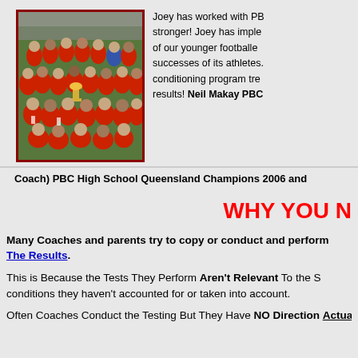[Figure (photo): Group photo of young footballers in red uniforms celebrating a championship win, holding a trophy, indoors on a field.]
Joey has worked with PBC stronger! Joey has implemented of our younger footballers, successes of its athletes. conditioning program tre results! Neil Makay PBC Coach) PBC High School Queensland Champions 2006 and
WHY YOU N
Many Coaches and parents try to copy or conduct and perform The Results.
This is Because the Tests They Perform Aren't Relevant To the S conditions they haven't accounted for or taken into account.
Often Coaches Conduct the Testing But They Have NO Direction Actually Useless and actually Increases their Risk of Injury and